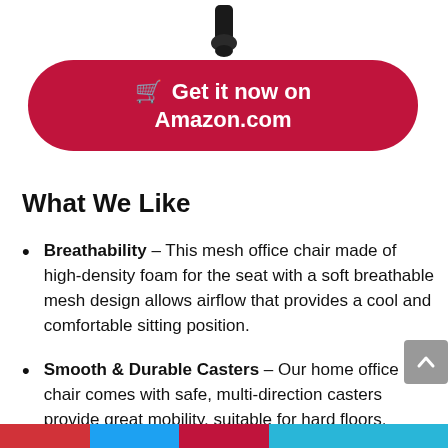[Figure (photo): Bottom of a black office chair leg/caster visible at top of page]
🛒 Get it now on Amazon.com
What We Like
Breathability – This mesh office chair made of high-density foam for the seat with a soft breathable mesh design allows airflow that provides a cool and comfortable sitting position.
Smooth & Durable Casters – Our home office chair comes with safe, multi-direction casters provide great mobility, suitable for hard floors, carpet and more, while being silent during